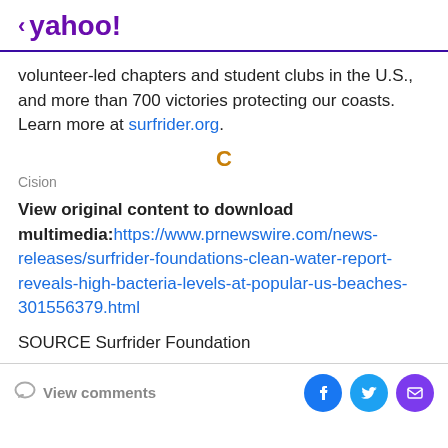< yahoo!
volunteer-led chapters and student clubs in the U.S., and more than 700 victories protecting our coasts. Learn more at surfrider.org.
[Figure (logo): Cision logo — orange bold letter C above the word Cision in gray]
View original content to download multimedia:https://www.prnewswire.com/news-releases/surfrider-foundations-clean-water-report-reveals-high-bacteria-levels-at-popular-us-beaches-301556379.html
SOURCE Surfrider Foundation
View comments